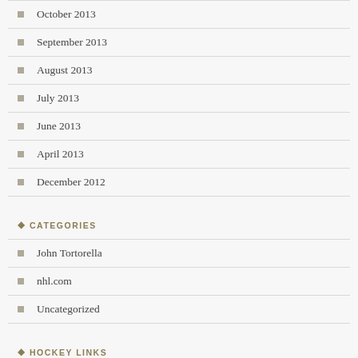October 2013
September 2013
August 2013
July 2013
June 2013
April 2013
December 2012
CATEGORIES
John Tortorella
nhl.com
Uncategorized
HOCKEY LINKS
American Collegiate Hockey Association
Black Ice Book